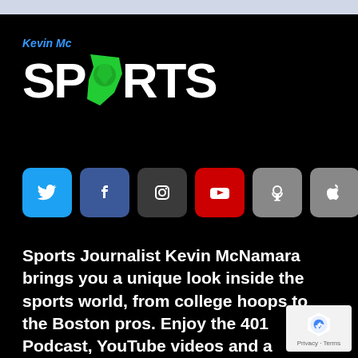[Figure (logo): Kevin Mc Sports logo with Rhode Island state shape in green and white text on black background]
[Figure (infographic): Social media icons row: Twitter (blue), Facebook (dark blue), Instagram (dark gray), YouTube (red), Podcast (gray), Apple (gray)]
Sports Journalist Kevin McNamara brings you a unique look inside the sports world, from college hoops to the Boston pros. Enjoy the 401 Podcast, YouTube videos and a complete look at Rhode Island sports.
[Figure (other): reCAPTCHA badge with Privacy and Terms text]